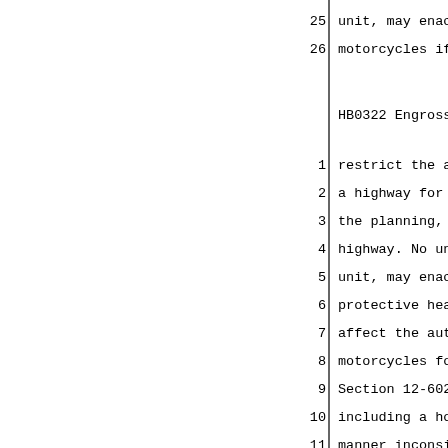25    unit, may enact or enforce an o
26    motorcycles if the principal pu
HB0322 Engrossed          - 4 -
1    restrict the access of motorcy
2    a highway for which federal or
3    the planning, design, construct
4    highway. No unit of local gover
5    unit, may enact an ordinance re
6    protective headgear. Nothing in
7    affect the authority of a unit
8    motorcycles for traffic control
9    Section 12-602 of this Code. No
10   including a home rule unit, may
11   manner inconsistent with this C
12   limitation under subsection (i)
13   the Illinois Constitution on th
14